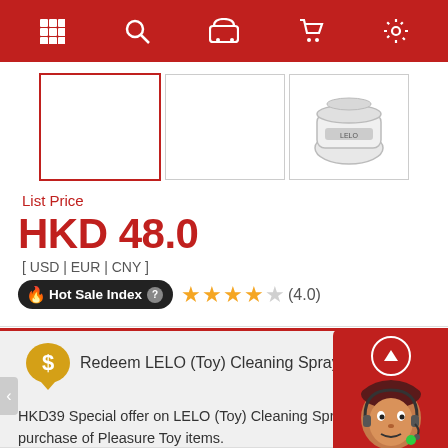Navigation bar with menu, search, shipping, cart, and settings icons
[Figure (screenshot): Three product thumbnail images in a row. First with red border selected, second empty, third showing a product.]
List Price
HKD 48.0
[ USD | EUR | CNY ]
🔥Hot Sale Index❓ ★★★★☆(4.0)
Redeem LELO (Toy) Cleaning Spray $0
HKD39 Special offer on LELO (Toy) Cleaning Spray 60ml upon purchase of Pleasure Toy items.